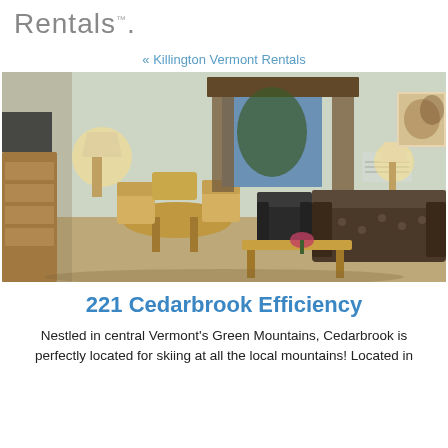Rentals.
« Killington Vermont Rentals
[Figure (photo): Interior photo of a furnished vacation rental living room with dining area, sofa, armchair, coffee table with flowers, wooden furniture, window with drapes, and wall art.]
221 Cedarbrook Efficiency
Nestled in central Vermont's Green Mountains, Cedarbrook is perfectly located for skiing at all the local mountains! Located in